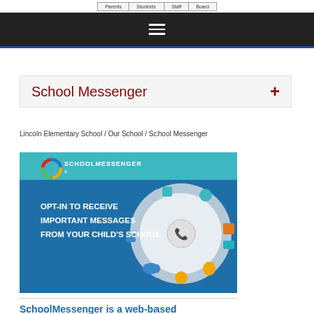Parents | Students | Staff | Board
[Figure (screenshot): Dark navigation header bar with hamburger menu icon (three white horizontal lines)]
School Messenger
Lincoln Elementary School / Our School / School Messenger
[Figure (illustration): SchoolMessenger banner image with teal/blue gradient background, SchoolMessenger logo with colorful circular icon, text reading 'OPT-IN TO RECEIVE IMPORTANT MESSAGES FROM YOUR CHILD'S SCHOOL', and a circular dial graphic with communication icons]
SchoolMessenger is a web-based mass communications tool